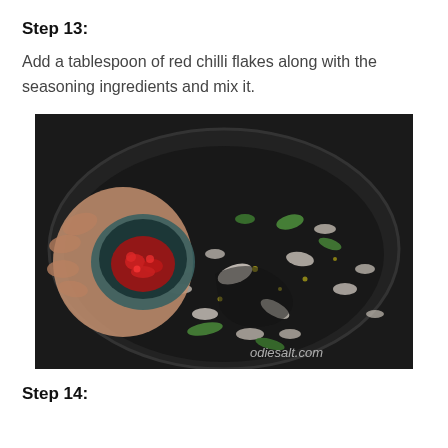Step 13:
Add a tablespoon of red chilli flakes along with the seasoning ingredients and mix it.
[Figure (photo): A dark wok/pan viewed from above containing chopped onions, green chilies, and spices, with a hand holding a small bowl of red chilli flakes being added. Watermark reads 'odiesalt.com'.]
Step 14: